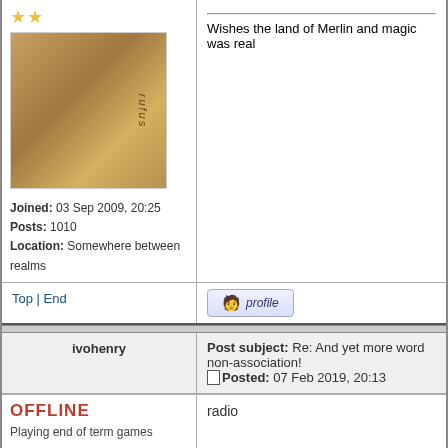play
[Figure (illustration): Avatar image of a painted figure labeled 'rufus']
Joined: 03 Sep 2009, 20:25
Posts: 1010
Location: Somewhere between realms
Wishes the land of Merlin and magic was real
Top | End
profile button
ivohenry
Post subject: Re: And yet more word non-association!
Posted: 07 Feb 2019, 20:13
OFFLINE
Playing end of term games
[Figure (illustration): Avatar image labeled 'book worm' showing hands holding a book]
Joined: 03 Jan 2010, 22:35
Posts: 2519
Location: Berkshire, England
radio